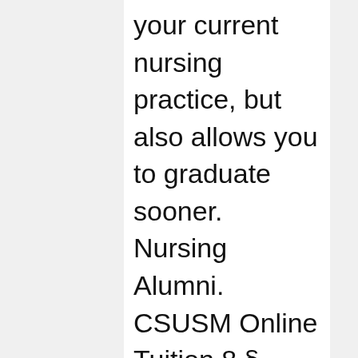your current nursing practice, but also allows you to graduate sooner. Nursing Alumni. CSUSM Online Tuition 8 § CSUSM is dedicated to serving the region with high quality educational resources at an outstanding value. trailer <<2116F02383464A1A9F68C044196A31FD>]/ 1528897>> startxref 0 %%EOF 165 0 obj <>stream Are there prerequisites for this program? 0000002659 00000 n About Extended Learning. 0000116501 00000 n The Institute of Medicine's Future of Nursing Report strongly encourages all nurses to obtain their BSN prior